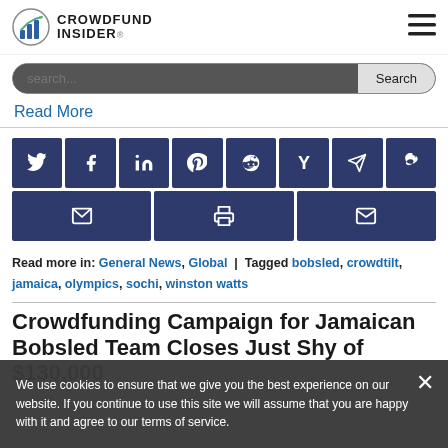CROWDFUND INSIDER
Read More
[Figure (infographic): Social sharing buttons row 1: Twitter, Facebook, LinkedIn, Pinterest, Reddit, Hacker News (Y), Telegram, Weibo]
[Figure (infographic): Social sharing buttons row 2: Email share, Print, Email]
Read more in: General News, Global | Tagged bobsled, crowdtilt, jamaica, olympics, sochi, winston watts
Crowdfunding Campaign for Jamaican Bobsled Team Closes Just Shy of $130,000
We use cookies to ensure that we give you the best experience on our website. If you continue to use this site we will assume that you are happy with it and agree to our terms of service.